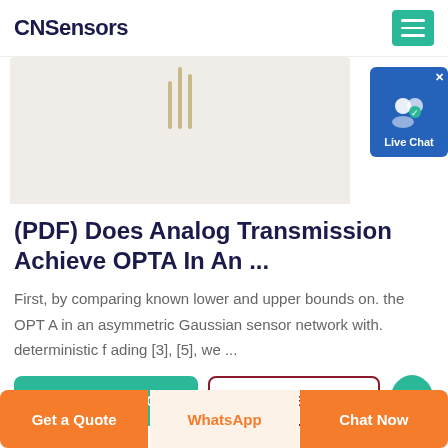CNSensors
[Figure (screenshot): Partial product/article image with a light beige background and vertical golden/tan lines, with a blue 'Live Chat' badge overlay in the top right corner.]
(PDF) Does Analog Transmission Achieve OPTA In An ...
First, by comparing known lower and upper bounds on. the OPT A in an asymmetric Gaussian sensor network with. deterministic f ading [3], [5], we ...
OBTENER PRECIO
WHATSAPP
Get a Quote
WhatsApp
Chat Now